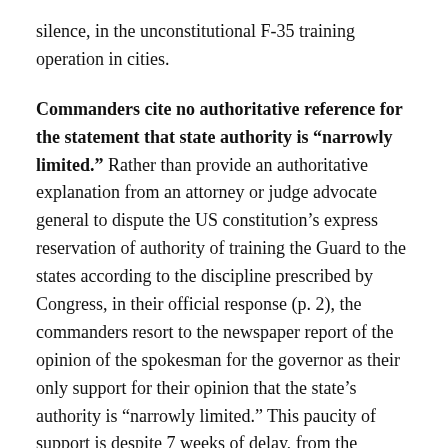silence, in the unconstitutional F-35 training operation in cities.
Commanders cite no authoritative reference for the statement that state authority is “narrowly limited.” Rather than provide an authoritative explanation from an attorney or judge advocate general to dispute the US constitution’s express reservation of authority of training the Guard to the states according to the discipline prescribed by Congress, in their official response (p. 2), the commanders resort to the newspaper report of the opinion of the spokesman for the governor as their only support for their opinion that the state’s authority is “narrowly limited.” This paucity of support is despite 7 weeks of delay, from the September 7 meeting to the October 25 publication of their official response.